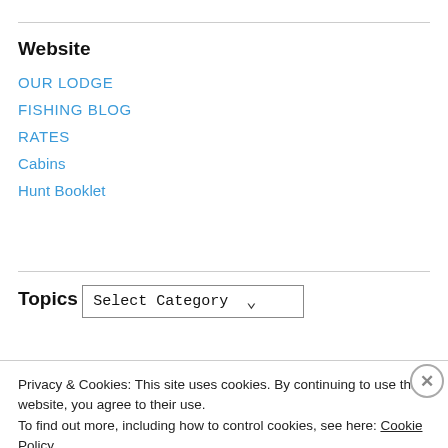Website
OUR LODGE
FISHING BLOG
RATES
Cabins
Hunt Booklet
Topics
Select Category
Privacy & Cookies: This site uses cookies. By continuing to use this website, you agree to their use.
To find out more, including how to control cookies, see here: Cookie Policy
Close and accept